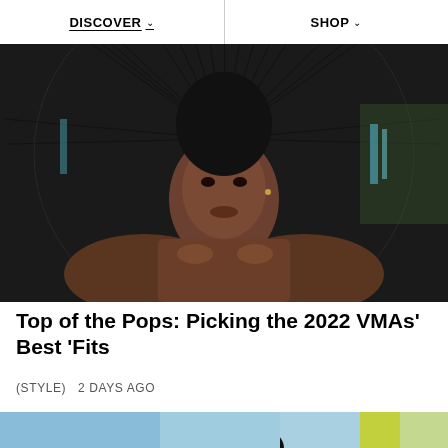DISCOVER   SHOP
[Figure (photo): Portrait photo of a young Black man shirtless with a large dramatic black feathered fan-like halo behind him, against a dark background with some green foliage]
Top of the Pops: Picking the 2022 VMAs' Best 'Fits
(STYLE)  2 DAYS AGO
[Figure (photo): Partial photo of a person with dark hair at what appears to be a colorful event backdrop with blue and yellow colors]